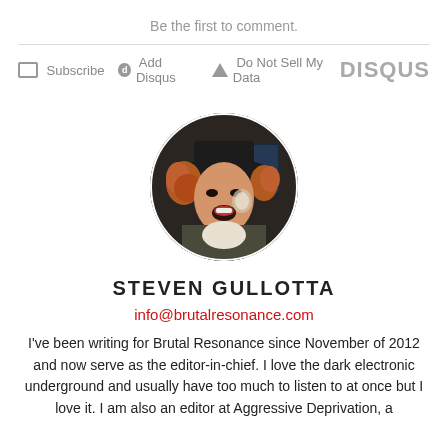Be the first to comment.
Subscribe  Add Disqus  Do Not Sell My Data   DISQUS
[Figure (photo): Circular profile photo of Steven Gullotta wearing a dark hat with curly red hair, mouth open, dark background]
STEVEN GULLOTTA
info@brutalresonance.com
I've been writing for Brutal Resonance since November of 2012 and now serve as the editor-in-chief. I love the dark electronic underground and usually have too much to listen to at once but I love it. I am also an editor at Aggressive Deprivation, a